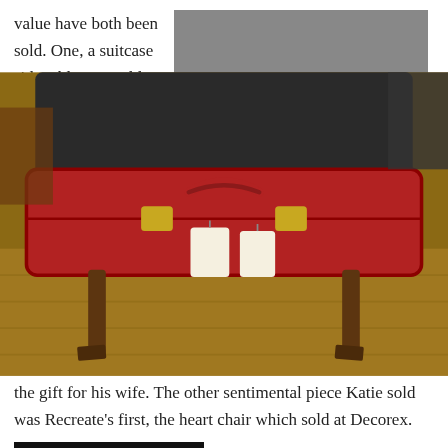value have both been sold. One, a suitcase side table was sold to a couple from the UK. The wife, a repeat Recreate
[Figure (photo): A red vintage suitcase repurposed as a side table with wooden legs, photographed on a wooden floor. The suitcase has brass clasps and a price tag attached.]
customer, purchased a tripod lamp for her husband as a Christmas present. As he was going to be visiting Cape Town, the wife sent him in store to collect the package. When the husband arrived he told Katie that this store was his wife's absolute favourite, and could she please help him pick out a Christmas present for her. Katie assisted the husband in selecting her own favourite suitcase side table as the gift for his wife. The other sentimental piece Katie sold was Recreate's first, the heart chair which sold at Decorex.
[Figure (photo): A dark/black background image showing what appears to be a logo or text partially visible, likely a Recreate store sign or product label.]
Katie finds